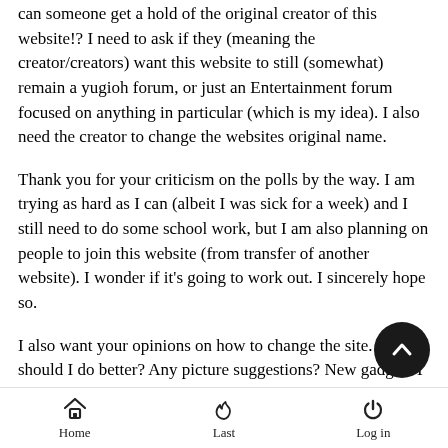can someone get a hold of the original creator of this website!? I need to ask if they (meaning the creator/creators) want this website to still (somewhat) remain a yugioh forum, or just an Entertainment forum focused on anything in particular (which is my idea). I also need the creator to change the websites original name.
Thank you for your criticism on the polls by the way. I am trying as hard as I can (albeit I was sick for a week) and I still need to do some school work, but I am also planning on people to join this website (from transfer of another website). I wonder if it's going to work out. I sincerely hope so.
I also want your opinions on how to change the site. What should I do better? Any picture suggestions? New gadgets I should install? Please feel free to speak your mind.
I greatly appreciate any who could also help me in building this
Home   Last   Log in